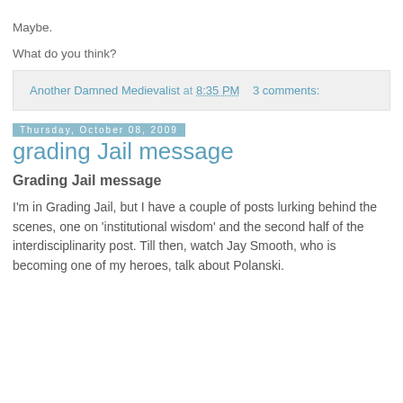Maybe.
What do you think?
Another Damned Medievalist at 8:35 PM    3 comments:
Thursday, October 08, 2009
grading Jail message
Grading Jail message
I'm in Grading Jail, but I have a couple of posts lurking behind the scenes, one on 'institutional wisdom' and the second half of the interdisciplinarity post. Till then, watch Jay Smooth, who is becoming one of my heroes, talk about Polanski.